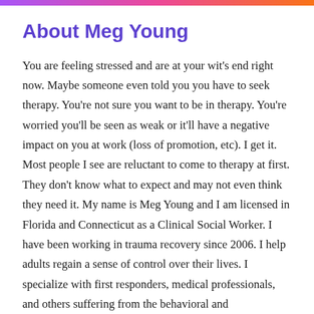About Meg Young
You are feeling stressed and are at your wit's end right now. Maybe someone even told you you have to seek therapy. You're not sure you want to be in therapy. You're worried you'll be seen as weak or it'll have a negative impact on you at work (loss of promotion, etc). I get it. Most people I see are reluctant to come to therapy at first. They don't know what to expect and may not even think they need it. My name is Meg Young and I am licensed in Florida and Connecticut as a Clinical Social Worker. I have been working in trauma recovery since 2006. I help adults regain a sense of control over their lives. I specialize with first responders, medical professionals, and others suffering from the behavioral and